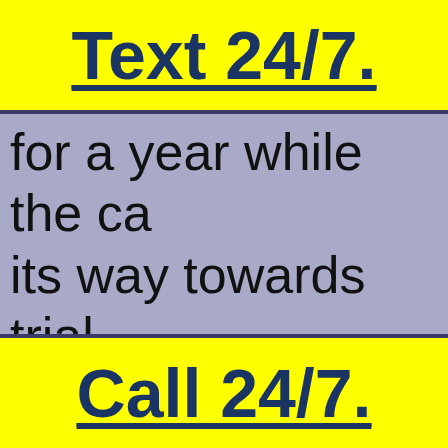Text 24/7.
for a year while the ca its way towards trial.

Cop stopped me beca over the line twice. He
Call 24/7.